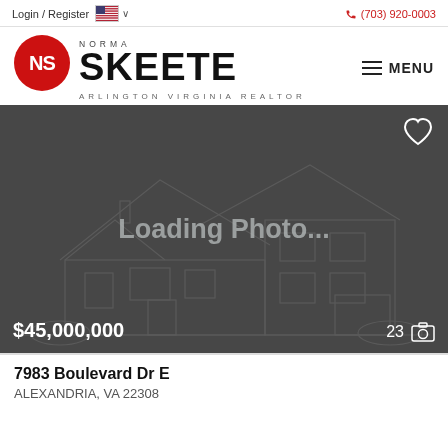Login / Register  🇺🇸 ∨   📞 (703) 920-0003
[Figure (logo): Norma Skeete Arlington Virginia Realtor logo with red NS circle and MENU button]
[Figure (photo): Loading Photo... placeholder image of a house wireframe on dark grey background with heart icon, $45,000,000 price label, and 23 photo count]
7983 Boulevard Dr E
ALEXANDRIA, VA 22308